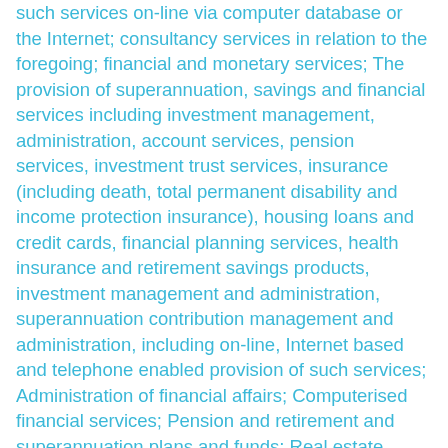such services on-line via computer database or the Internet; consultancy services in relation to the foregoing; financial and monetary services; The provision of superannuation, savings and financial services including investment management, administration, account services, pension services, investment trust services, insurance (including death, total permanent disability and income protection insurance), housing loans and credit cards, financial planning services, health insurance and retirement savings products, investment management and administration, superannuation contribution management and administration, including on-line, Internet based and telephone enabled provision of such services; Administration of financial affairs; Computerised financial services; Pension and retirement and superannuation plans and funds; Real estate affairs and services including services in this class provided by real estate brokers and real estate agencies; real estate property valuation and management; real estate appraisals; real estate brokers;